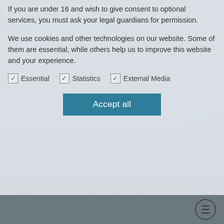If you are under 16 and wish to give consent to optional services, you must ask your legal guardians for permission.
We use cookies and other technologies on our website. Some of them are essential, while others help us to improve this website and your experience.
Essential
Statistics
External Media
[Figure (other): Accept all button inside cookie consent modal]
Stockholm+50 Side Event: Achieving a Healthy Planet for all Through a Gender-Just Recovery (Hybrid)